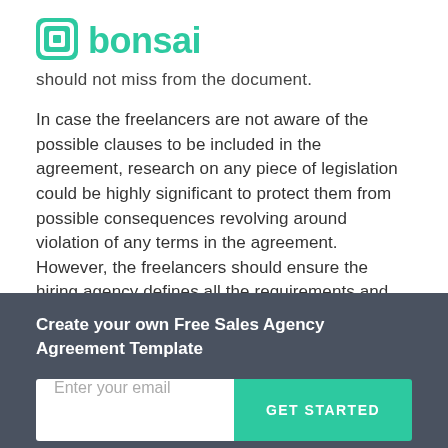bonsai
should not miss from the document.
In case the freelancers are not aware of the possible clauses to be included in the agreement, research on any piece of legislation could be highly significant to protect them from possible consequences revolving around violation of any terms in the agreement. However, the freelancers should ensure the hiring agency defines all the requirements and they can fully comply, possibly
Create your own Free Sales Agency Agreement Template
Enter your email
GET STARTED